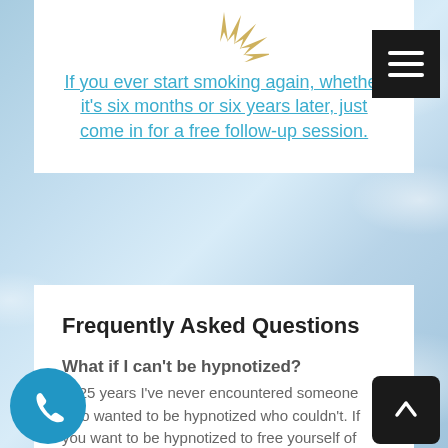[Figure (illustration): Gold star/sunburst icon at top of white card]
If you ever start smoking again, whether it's six months or six years later, just come in for a free follow-up session.
Frequently Asked Questions
What if I can't be hypnotized?
In 25 years I've never encountered someone who wanted to be hypnotized who couldn't. If you want to be hypnotized to free yourself of nicotine in any form, then you will be hypnotized.
Will I still crave cigarettes?
No. Once your subconscious mind is